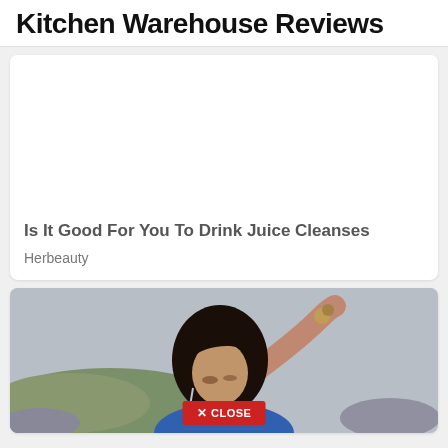Kitchen Warehouse Reviews
[Figure (other): White/blank image placeholder for article card]
Is It Good For You To Drink Juice Cleanses
Herbeauty
[Figure (photo): Photo of a woman with dark hair wearing blue top and jewelry, with a red CLOSE button overlay at the bottom]